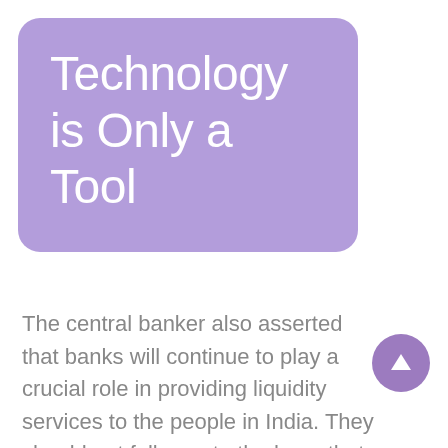Technology is Only a Tool
The central banker also asserted that banks will continue to play a crucial role in providing liquidity services to the people in India. They should not fall prey to the hype that technology can create a currency. After all, it's a tool, and it can be misused also, he cautioned